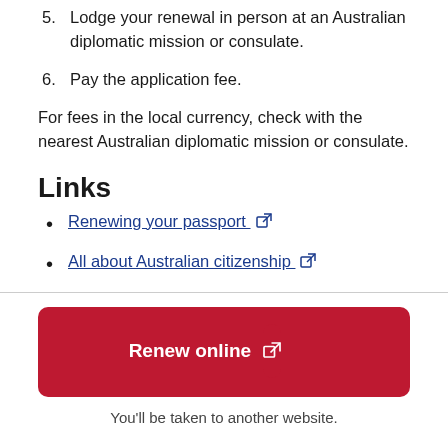5. Lodge your renewal in person at an Australian diplomatic mission or consulate.
6. Pay the application fee.
For fees in the local currency, check with the nearest Australian diplomatic mission or consulate.
Links
Renewing your passport [external link]
All about Australian citizenship [external link]
Renew online [external link]
You'll be taken to another website.